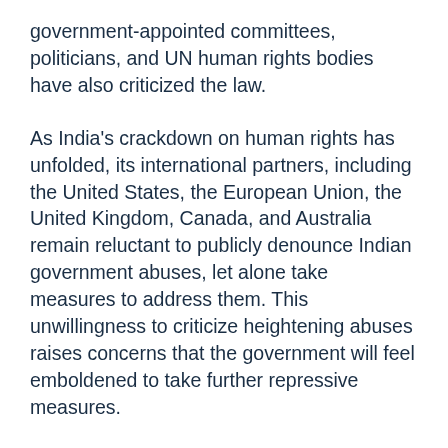government-appointed committees, politicians, and UN human rights bodies have also criticized the law.
As India's crackdown on human rights has unfolded, its international partners, including the United States, the European Union, the United Kingdom, Canada, and Australia remain reluctant to publicly denounce Indian government abuses, let alone take measures to address them. This unwillingness to criticize heightening abuses raises concerns that the government will feel emboldened to take further repressive measures.
The Indian authorities should immediately and unconditionally release Parvez and others arrested in politically motivated cases and drop all charges against them, the groups said. The government should also amend the Unlawful Activities Prevention Act to bring it